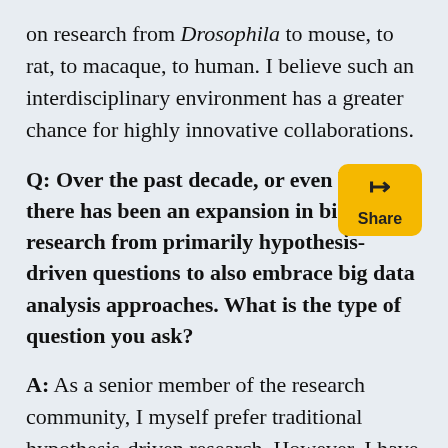on research from Drosophila to mouse, to rat, to macaque, to human. I believe such an interdisciplinary environment has a greater chance for highly innovative collaborations.
Q: Over the past decade, or even longer, there has been an expansion in biology research from primarily hypothesis-driven questions to also embrace big data analysis approaches. What is the type of question you ask?
A: As a senior member of the research community, I myself prefer traditional hypothesis-driven research. However, I have nothing against the rise of large data analysis approaches. Hypothesis-driven research is based on the imagination. You think about a problem, you form a hypothesis, and you design an